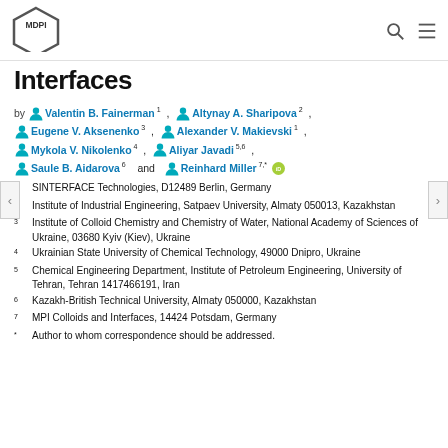MDPI
Interfaces
by Valentin B. Fainerman 1, Altynay A. Sharipova 2, Eugene V. Aksenenko 3, Alexander V. Makievski 1, Mykola V. Nikolenko 4, Aliyar Javadi 5,6, Saule B. Aidarova 6 and Reinhard Miller 7,*
1 SINTERFACE Technologies, D12489 Berlin, Germany
2 Institute of Industrial Engineering, Satpaev University, Almaty 050013, Kazakhstan
3 Institute of Colloid Chemistry and Chemistry of Water, National Academy of Sciences of Ukraine, 03680 Kyiv (Kiev), Ukraine
4 Ukrainian State University of Chemical Technology, 49000 Dnipro, Ukraine
5 Chemical Engineering Department, Institute of Petroleum Engineering, University of Tehran, Tehran 1417466191, Iran
6 Kazakh-British Technical University, Almaty 050000, Kazakhstan
7 MPI Colloids and Interfaces, 14424 Potsdam, Germany
* Author to whom correspondence should be addressed.